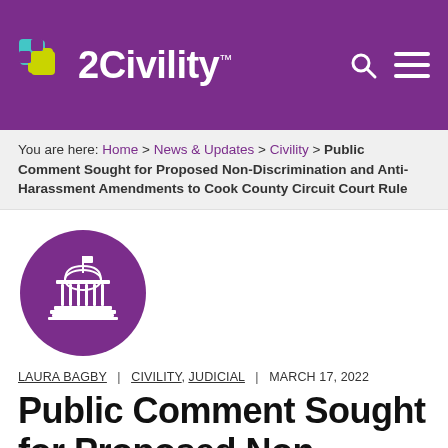2Civility
You are here: Home > News & Updates > Civility > Public Comment Sought for Proposed Non-Discrimination and Anti-Harassment Amendments to Cook County Circuit Court Rule
[Figure (illustration): Purple circle with a courthouse/government building icon in white]
LAURA BAGBY | CIVILITY, JUDICIAL | MARCH 17, 2022
Public Comment Sought for Proposed Non-Discrimination and Anti-